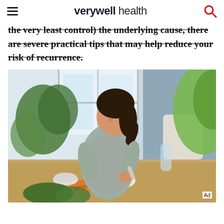verywell health
the very least control) the underlying cause, there are severe practical tips that may help reduce your risk of recurrence.
[Figure (photo): A smiling woman with dark hair in a ponytail, wearing a grey t-shirt, preparing food at a kitchen counter surrounded by fresh vegetables, fruits, herbs, and a glass carafe. Bright natural light from windows illuminates the scene.]